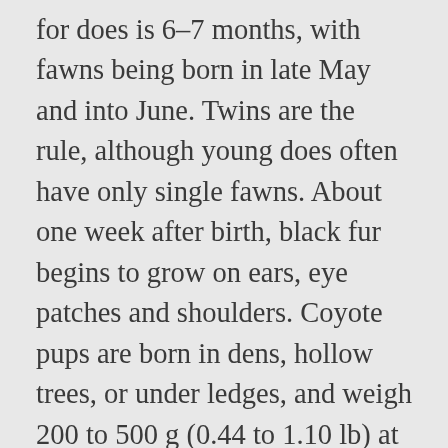for does is 6–7 months, with fawns being born in late May and into June. Twins are the rule, although young does often have only single fawns. About one week after birth, black fur begins to grow on ears, eye patches and shoulders. Coyote pups are born in dens, hollow trees, or under ledges, and weigh 200 to 500 g (0.44 to 1.10 lb) at birth. Tier Four until EASTER: 'Professor Lockdown' Neil Ferguson warns draconian measures may be needed for... Are hospitals REALLY creaking under the strain of Covid before Christmas? Part of the Daily Mail, The Mail on Sunday & Metro Media Group, It wasn't a big bother in the beginning - I' d just lift the 'tail' when I needed to change